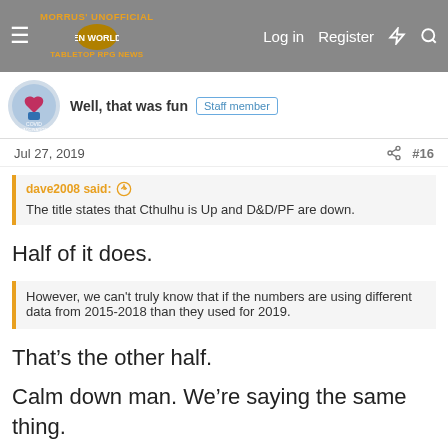Morrus' Unofficial Tabletop RPG News — Log in | Register
Well, that was fun  Staff member
Jul 27, 2019  #16
dave2008 said: ↑
The title states that Cthulhu is Up and D&D/PF are down.
Half of it does.
However, we can't truly know that if the numbers are using different data from 2015-2018 than they used for 2019.
That's the other half.
Calm down man. We're saying the same thing.